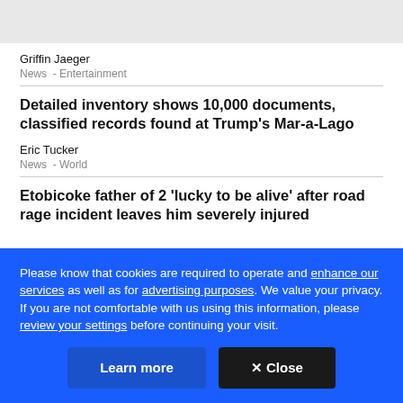Griffin Jaeger
News  -  Entertainment
Detailed inventory shows 10,000 documents, classified records found at Trump's Mar-a-Lago
Eric Tucker
News  -  World
Etobicoke father of 2 'lucky to be alive' after road rage incident leaves him severely injured
Please know that cookies are required to operate and enhance our services as well as for advertising purposes. We value your privacy. If you are not comfortable with us using this information, please review your settings before continuing your visit.
Learn more
✕ Close